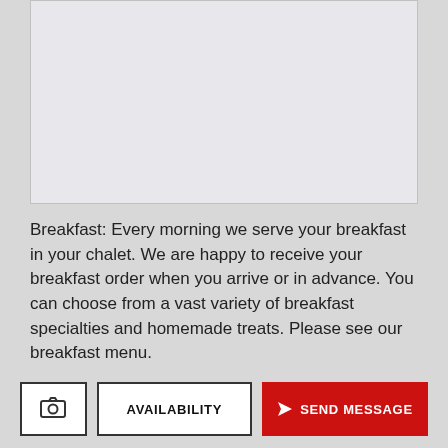[Figure (photo): Placeholder image area for chalet photo]
Breakfast: Every morning we serve your breakfast in your chalet. We are happy to receive your breakfast order when you arrive or in advance. You can choose from a vast variety of breakfast specialties and homemade treats. Please see our breakfast menu.
Chalet kitchen: Our chalet kitchens are equipped in a clear and
[Figure (other): Camera icon button]
AVAILABILITY
SEND MESSAGE